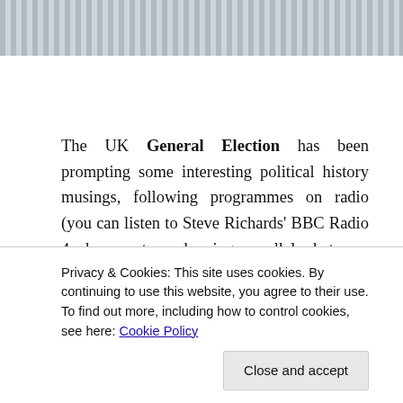[Figure (photo): Partial image strip at top of page showing a dark silhouette on left and a striped/textured background on right, appearing to be a cropped photograph]
The UK General Election has been prompting some interesting political history musings, following programmes on radio (you can listen to Steve Richards' BBC Radio 4 documentary drawing parallels between today and the two general elections of 1974 here) and TV (Matthew Cooper wrote a good review of Channel 4's
Privacy & Cookies: This site uses cookies. By continuing to use this website, you agree to their use.
To find out more, including how to control cookies, see here: Cookie Policy
Close and accept
in a series of election-related posts at History Workshop